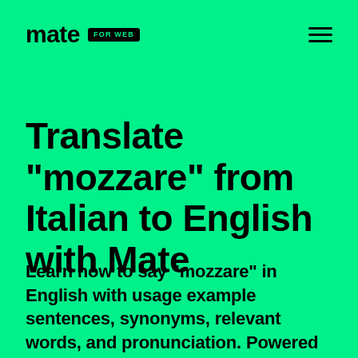mate FOR WEB
Translate "mozzare" from Italian to English with Mate
Learn how to say "mozzare" in English with usage example sentences, synonyms, relevant words, and pronunciation. Powered by Mate.